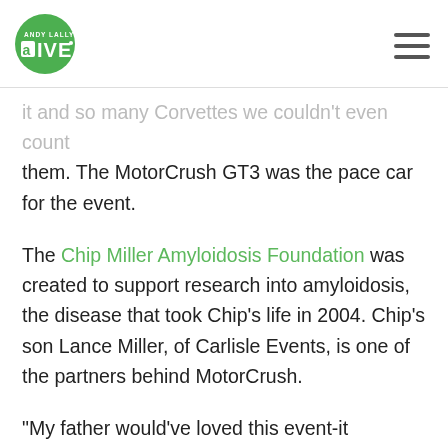Andy Lally ALIVE
it and so many Corvettes we couldn't even count them. The MotorCrush GT3 was the pace car for the event.
The Chip Miller Amyloidosis Foundation was created to support research into amyloidosis, the disease that took Chip's life in 2004. Chip's son Lance Miller, of Carlisle Events, is one of the partners behind MotorCrush.
“My father would’ve loved this event-it personified what he was all about,” says Lance. “Good people, good times, tasty food, and fast cars … just a perfect way